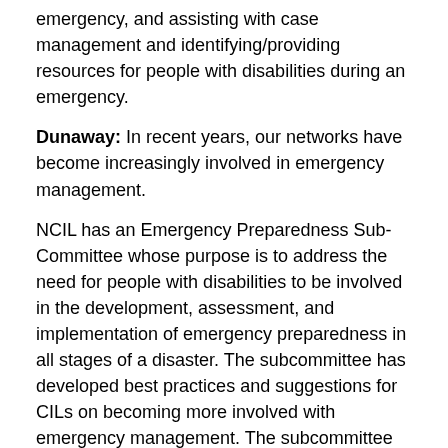emergency, and assisting with case management and identifying/providing resources for people with disabilities during an emergency.
Dunaway: In recent years, our networks have become increasingly involved in emergency management.
NCIL has an Emergency Preparedness Sub-Committee whose purpose is to address the need for people with disabilities to be involved in the development, assessment, and implementation of emergency preparedness in all stages of a disaster. The subcommittee has developed best practices and suggestions for CILs on becoming more involved with emergency management. The subcommittee has also negotiated Memoranda of Understanding with national response organizations, and is available to facilitate access to services needed in the event of a disaster.
What's one thing that people with